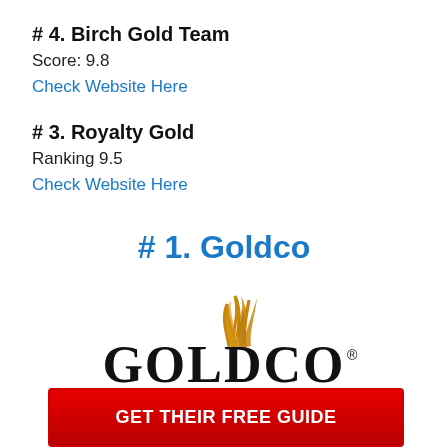# 4. Birch Gold Team
Score: 9.8
Check Website Here
# 3. Royalty Gold
Ranking 9.5
Check Website Here
# 1. Goldco
[Figure (logo): Goldco logo with golden flame/feather accent above the text GOLDCO in large serif font with registered trademark symbol]
GET THEIR FREE GUIDE